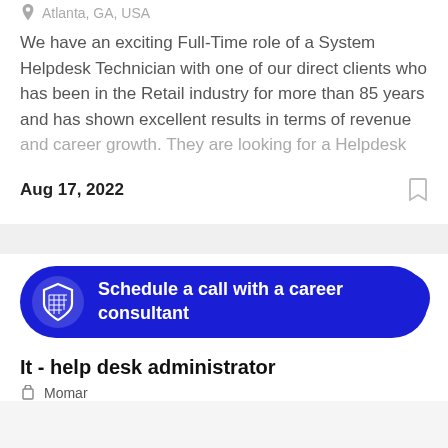Atlanta, GA, USA
We have an exciting Full-Time role of a System Helpdesk Technician with one of our direct clients who has been in the Retail industry for more than 85 years and has shown excellent results in terms of revenue and career growth. They are looking for a Helpdesk
Aug 17, 2022
[Figure (infographic): Blue rounded banner with shield logo and text: Schedule a call with a career consultant]
It - help desk administrator
Momar